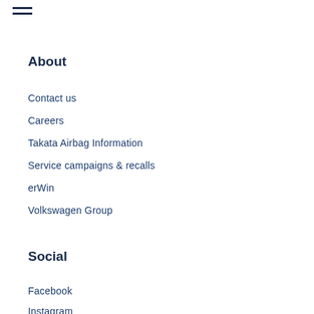≡
About
Contact us
Careers
Takata Airbag Information
Service campaigns & recalls
erWin
Volkswagen Group
Social
Facebook
Instagram